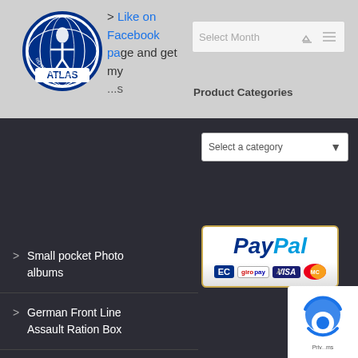[Figure (logo): Atlas Repro Paperworks circular logo with globe and figure]
> Like on Facebook page and get my ...s
Select Month (archive dropdown with cart and menu icons)
Product Categories
> Small pocket Photo albums
Select a category (dropdown)
> German Front Line Assault Ration Box
[Figure (logo): PayPal logo with payment methods: EC, giropay, VISA, MasterCard]
> New projects for October 2015
> Waschmittel für Feinwäsche
[Figure (logo): Partial privacy/cookie icon at bottom right]